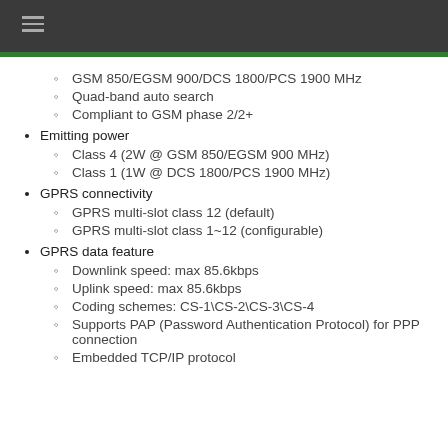≡
GSM 850/EGSM 900/DCS 1800/PCS 1900 MHz
Quad-band auto search
Compliant to GSM phase 2/2+
Emitting power
Class 4 (2W @ GSM 850/EGSM 900 MHz)
Class 1 (1W @ DCS 1800/PCS 1900 MHz)
GPRS connectivity
GPRS multi-slot class 12 (default)
GPRS multi-slot class 1~12 (configurable)
GPRS data feature
Downlink speed: max 85.6kbps
Uplink speed: max 85.6kbps
Coding schemes: CS-1\CS-2\CS-3\CS-4
Supports PAP (Password Authentication Protocol) for PPP connection
Embedded TCP/IP protocol